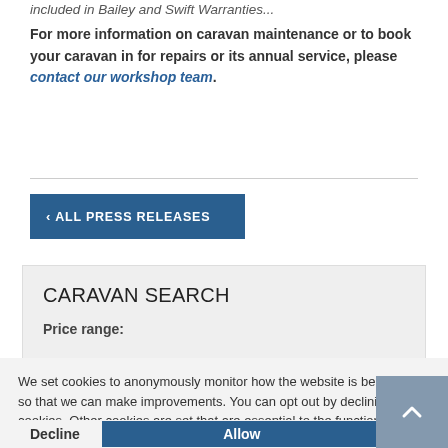included in Bailey and Swift Warranties...
For more information on caravan maintenance or to book your caravan in for repairs or its annual service, please contact our workshop team.
‹ ALL PRESS RELEASES
CARAVAN SEARCH
Price range:
We set cookies to anonymously monitor how the website is being used so that we can make improvements. You can opt out by declining these cookies. Other cookies are set that are essential to the function of the website and can't be removed. Learn more
Decline
Allow
Type: